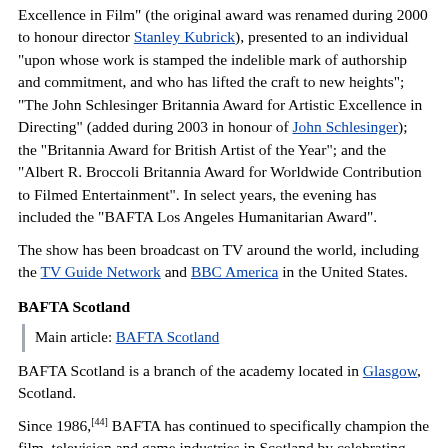Excellence in Film" (the original award was renamed during 2000 to honour director Stanley Kubrick), presented to an individual "upon whose work is stamped the indelible mark of authorship and commitment, and who has lifted the craft to new heights"; "The John Schlesinger Britannia Award for Artistic Excellence in Directing" (added during 2003 in honour of John Schlesinger); the "Britannia Award for British Artist of the Year"; and the "Albert R. Broccoli Britannia Award for Worldwide Contribution to Filmed Entertainment". In select years, the evening has included the "BAFTA Los Angeles Humanitarian Award".
The show has been broadcast on TV around the world, including the TV Guide Network and BBC America in the United States.
BAFTA Scotland
Main article: BAFTA Scotland
BAFTA Scotland is a branch of the academy located in Glasgow, Scotland.
Since 1986,[44] BAFTA has continued to specifically champion the film, television and game industries in Scotland by celebrating excellence, championing new Scottish talent and reaching out to